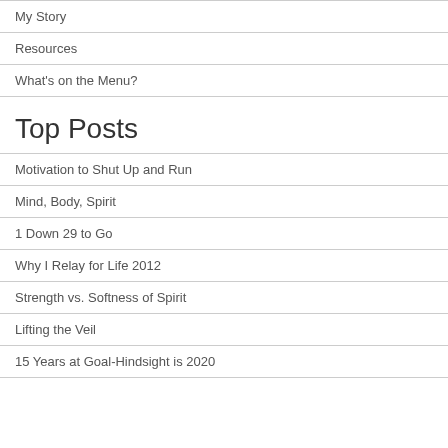My Story
Resources
What's on the Menu?
Top Posts
Motivation to Shut Up and Run
Mind, Body, Spirit
1 Down 29 to Go
Why I Relay for Life 2012
Strength vs. Softness of Spirit
Lifting the Veil
15 Years at Goal-Hindsight is 2020